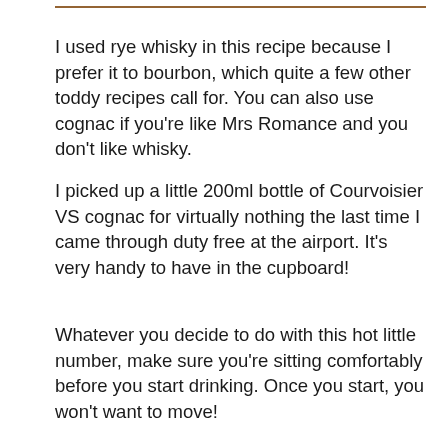[Figure (photo): Partial top edge of a photo showing wooden surface tones, with a small watermark text at top right reading 'mrsromance.com']
I used rye whisky in this recipe because I prefer it to bourbon, which quite a few other toddy recipes call for. You can also use cognac if you're like Mrs Romance and you don't like whisky.
I picked up a little 200ml bottle of Courvoisier VS cognac for virtually nothing the last time I came through duty free at the airport. It's very handy to have in the cupboard!
Whatever you decide to do with this hot little number, make sure you're sitting comfortably before you start drinking. Once you start, you won't want to move!
[Figure (photo): Bottom portion of page showing the top of a glass with a hot toddy drink on a wooden surface, dark blue background, close-up shot]